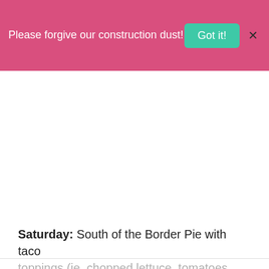Please forgive our construction dust! Got it! X
Saturday: South of the Border Pie with taco toppings (ie. chopped lettuce, tomatoes, cheese and sour cream)